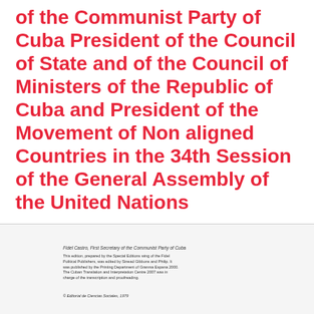of the Communist Party of Cuba President of the Council of State and of the Council of Ministers of the Republic of Cuba and President of the Movement of Non aligned Countries in the 34th Session of the General Assembly of the United Nations
Fidel Castro, First Secretary of the Communist Party of Cuba
This edition, prepared by the Special Editions wing of the Fidel Political Publishers, was edited by Sinead Gibbons and Philip. It was published by the Printing Department of Granma Espana 2000. The Cuban Translation and Interpretation Centre 2007 was in charge of the transcription and proofreading.
© Editorial de Ciencias Sociales, 1979